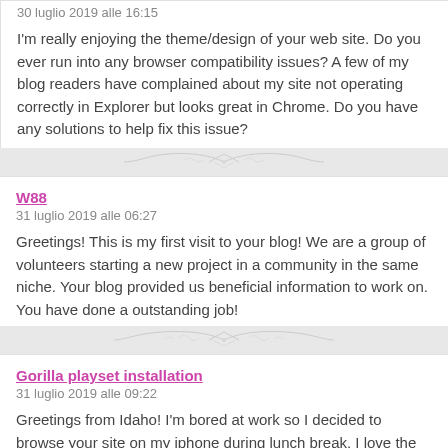30 luglio 2019 alle 16:15
I'm really enjoying the theme/design of your web site. Do you ever run into any browser compatibility issues? A few of my blog readers have complained about my site not operating correctly in Explorer but looks great in Chrome. Do you have any solutions to help fix this issue?
W88
31 luglio 2019 alle 06:27
Greetings! This is my first visit to your blog! We are a group of volunteers starting a new project in a community in the same niche. Your blog provided us beneficial information to work on. You have done a outstanding job!
Gorilla playset installation
31 luglio 2019 alle 09:22
Greetings from Idaho! I'm bored at work so I decided to browse your site on my iphone during lunch break. I love the knowledge you present here and can't wait to take a look when I get home. I'm shocked at how quick your blog loaded on my phone, not even using WIFI, just 3G .. Anyways, wonderful site!